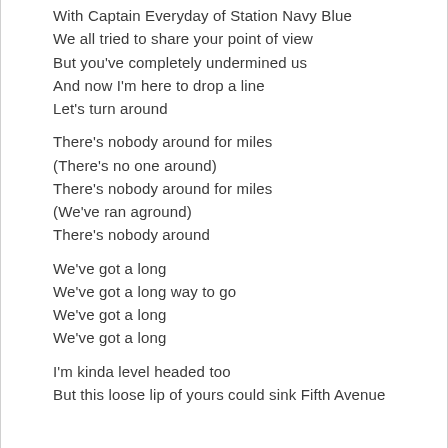With Captain Everyday of Station Navy Blue
We all tried to share your point of view
But you've completely undermined us
And now I'm here to drop a line
Let's turn around
There's nobody around for miles
(There's no one around)
There's nobody around for miles
(We've ran aground)
There's nobody around
We've got a long
We've got a long way to go
We've got a long
We've got a long
I'm kinda level headed too
But this loose lip of yours could sink Fifth Avenue